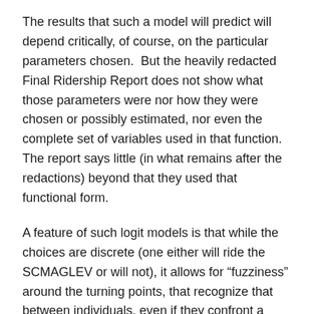The results that such a model will predict will depend critically, of course, on the particular parameters chosen.  But the heavily redacted Final Ridership Report does not show what those parameters were nor how they were chosen or possibly estimated, nor even the complete set of variables used in that function.  The report says little (in what remains after the redactions) beyond that they used that functional form.
A feature of such logit models is that while the choices are discrete (one either will ride the SCMAGLEV or will not), it allows for “fuzziness” around the turning points, that recognize that between individuals, even if they confront a similar combination of variables (a combination of cost, travel time, and other measured attributes), some will simply prefer to drive while some will prefer to take the